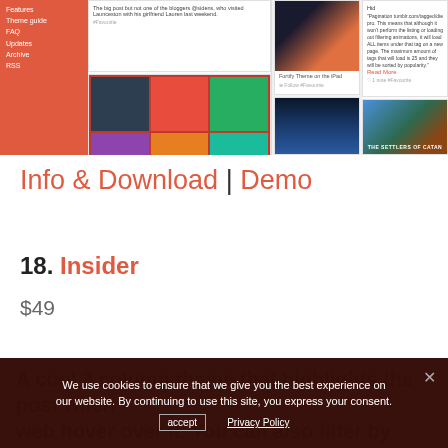[Figure (screenshot): Screenshot of a website/theme demo showing a sidebar navigation with orange/red background, and a main area with blog post cards in a grid layout. The top section shows a portfolio-style theme with multiple image thumbnails, an iPad mockup, a city night photo, and a colorful hexagonal board game cover.]
Info & Download | Demo
18. Insider
$49
A cool 3 column theme that highlights the post when you hover over it. You can also filter by tags. At the top right corner of the content area are 5 items that show your profile, content data
We use cookies to ensure that we give you the best experience on our website. By continuing to use this site, you express your consent.
accept   Privacy Policy